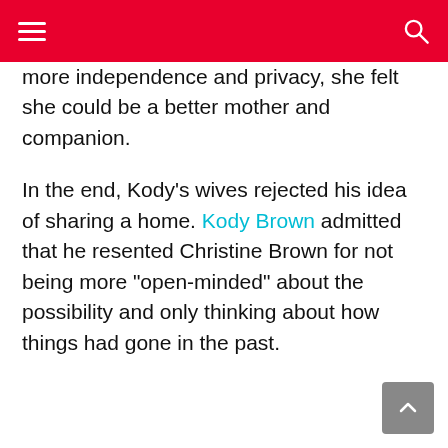more independence and privacy, she felt she could be a better mother and companion.

In the end, Kody’s wives rejected his idea of sharing a home. Kody Brown admitted that he resented Christine Brown for not being more “open-minded” about the possibility and only thinking about how things had gone in the past.